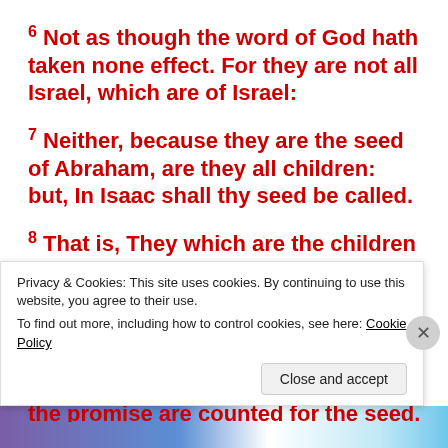6 Not as though the word of God hath taken none effect. For they are not all Israel, which are of Israel:
7 Neither, because they are the seed of Abraham, are they all children: but, In Isaac shall thy seed be called.
8 That is, They which are the children of the flesh, these are not the children of God: but the children of the promise are counted for the seed.
Privacy & Cookies: This site uses cookies. By continuing to use this website, you agree to their use. To find out more, including how to control cookies, see here: Cookie Policy
Close and accept